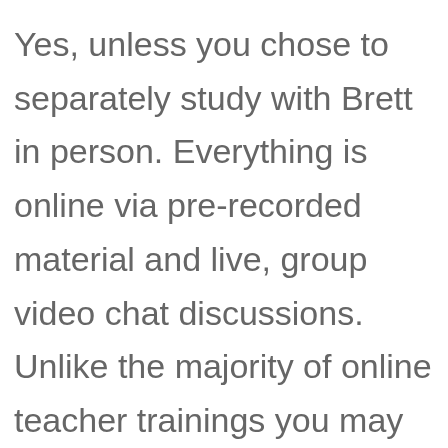Yes, unless you chose to separately study with Brett in person. Everything is online via pre-recorded material and live, group video chat discussions. Unlike the majority of online teacher trainings you may explore, this is a high-touch, deeply interactive experience in which you are live with Brett and fellow students for 3+ hours each week. We've been perfecting the art of training yoga